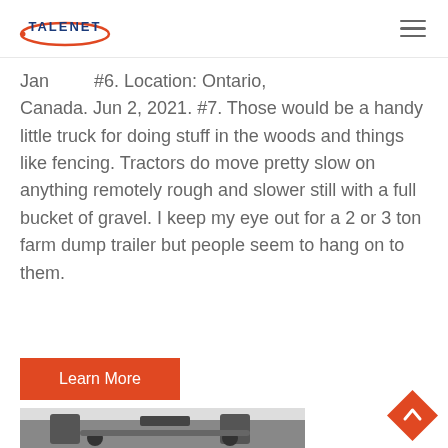TALENET
Jan ... #6. Location: Ontario, Canada. Jun 2, 2021. #7. Those would be a handy little truck for doing stuff in the woods and things like fencing. Tractors do move pretty slow on anything remotely rough and slower still with a full bucket of gravel. I keep my eye out for a 2 or 3 ton farm dump trailer but people seem to hang on to them.
Learn More
[Figure (photo): Undercarriage of a farm vehicle or truck showing axle, machinery components and mechanical parts, viewed from below.]